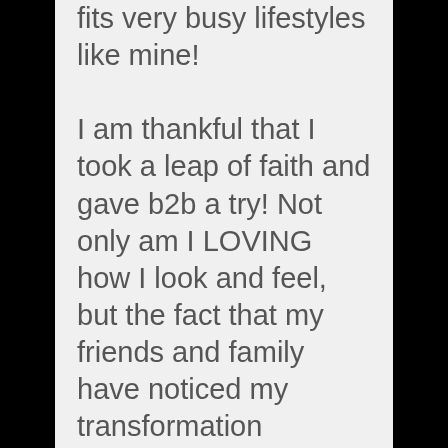fits very busy lifestyles like mine! I am thankful that I took a leap of faith and gave b2b a try! Not only am I LOVING how I look and feel, but the fact that my friends and family have noticed my transformation reassures me that my hard work has paid off. it...